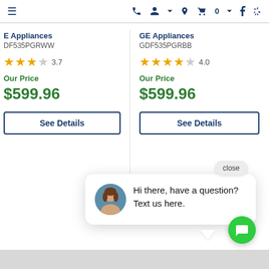[Figure (screenshot): Retail website navigation bar with hamburger menu, phone, account, location, cart (0), Facebook, and Yelp icons]
E Appliances
DF535PGRWW
3.7 stars
Our Price
$599.96
See Details
GE Appliances
GDF535PGRBB
4.0 stars
Our Price
$599.96
See Details
close
Hi there, have a question? Text us here.
[Figure (photo): Chat widget avatar: woman with long brown hair]
[Figure (other): Green circular chat button with message icon]